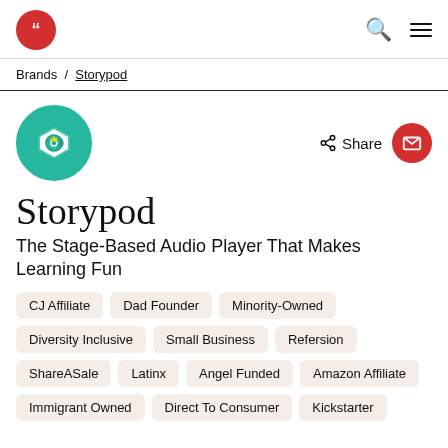Brands / Storypod
Storypod
The Stage-Based Audio Player That Makes Learning Fun
CJ Affiliate
Dad Founder
Minority-Owned
Diversity Inclusive
Small Business
Refersion
ShareASale
Latinx
Angel Funded
Amazon Affiliate
Immigrant Owned
Direct To Consumer
Kickstarter